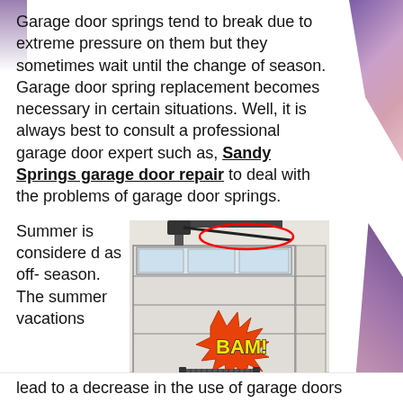Garage door springs tend to break due to extreme pressure on them but they sometimes wait until the change of season. Garage door spring replacement becomes necessary in certain situations. Well, it is always best to consult a professional garage door expert such as, Sandy Springs garage door repair to deal with the problems of garage door springs.
Summer is considered as off-season. The summer vacations
[Figure (photo): Photo of a garage door interior with a broken spring highlighted by a red oval circle, and a comic-style 'BAM!' graphic explosion over a coiled spring on the floor.]
lead to a decrease in the use of garage doors